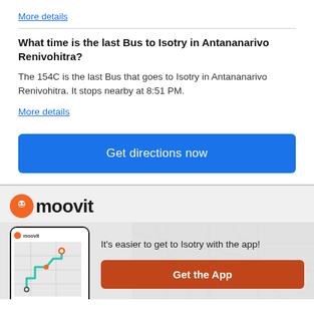More details
What time is the last Bus to Isotry in Antananarivo Renivohitra?
The 154C is the last Bus that goes to Isotry in Antananarivo Renivohitra. It stops nearby at 8:51 PM.
More details
Get directions now
[Figure (logo): Moovit logo with orange smiley face icon and wordmark]
[Figure (screenshot): Phone mockup showing Moovit app with route map]
It's easier to get to Isotry with the app!
Get the App